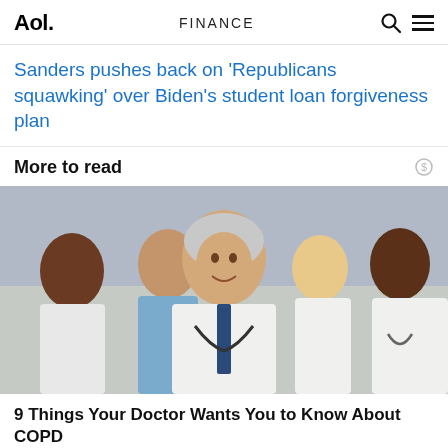Aol. FINANCE
Sanders pushes back on 'Republicans squawking' over Biden's student loan forgiveness plan
More to read
[Figure (photo): Group of five medical professionals in white lab coats and scrubs smiling at the camera, with a silver-haired male doctor in the foreground wearing a stethoscope and tie.]
9 Things Your Doctor Wants You to Know About COPD
Healthgrades · Ad